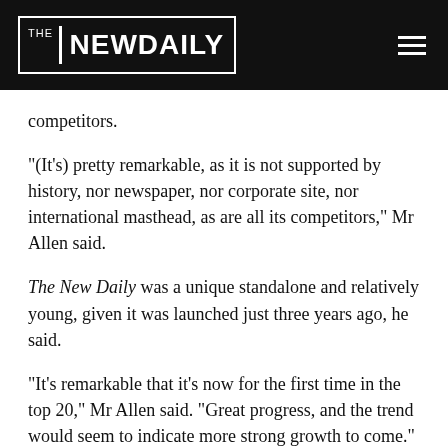THE NEW DAILY
competitors.
“(It’s) pretty remarkable, as it is not supported by history, nor newspaper, nor corporate site, nor international masthead, as are all its competitors,” Mr Allen said.
The New Daily was a unique standalone and relatively young, given it was launched just three years ago, he said.
“It’s remarkable that it’s now for the first time in the top 20,” Mr Allen said. “Great progress, and the trend would seem to indicate more strong growth to come.”
The extraordinary month-on-month growth saw The New Daily leapfrog longer-established sites including News Corp’s Adelaide Now and Fairfax’s Brisbane Times. It also went ahead of several foreign sites, including CNN and the New York